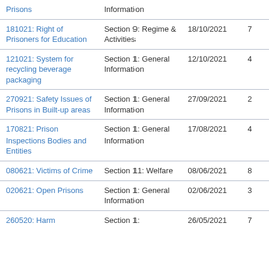| Title | Section | Date | Count |
| --- | --- | --- | --- |
| Prisons | Information |  |  |
| 181021: Right of Prisoners for Education | Section 9: Regime & Activities | 18/10/2021 | 7 |
| 121021: System for recycling beverage packaging | Section 1: General Information | 12/10/2021 | 4 |
| 270921: Safety Issues of Prisons in Built-up areas | Section 1: General Information | 27/09/2021 | 2 |
| 170821: Prison Inspections Bodies and Entities | Section 1: General Information | 17/08/2021 | 4 |
| 080621: Victims of Crime | Section 11: Welfare | 08/06/2021 | 8 |
| 020621: Open Prisons | Section 1: General Information | 02/06/2021 | 3 |
| 260520: Harm | Section 1: | 26/05/2021 | 7 |